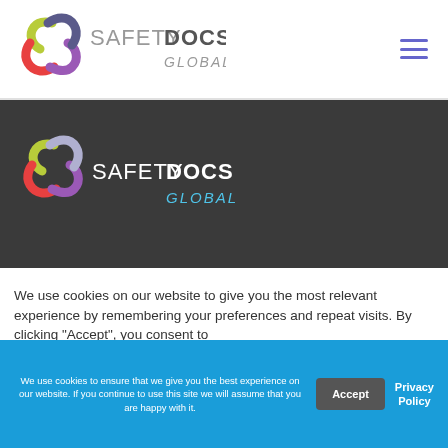[Figure (logo): SafetyDocs Global logo in header - colorful chain link icon with SAFETYDOCS GLOBAL text]
[Figure (logo): SafetyDocs Global logo in dark section - colorful chain link icon with white SAFETYDOCS GLOBAL text]
We use cookies on our website to give you the most relevant experience by remembering your preferences and repeat visits. By clicking "Accept", you consent to
We use cookies to ensure that we give you the best experience on our website. If you continue to use this site we will assume that you are happy with it.